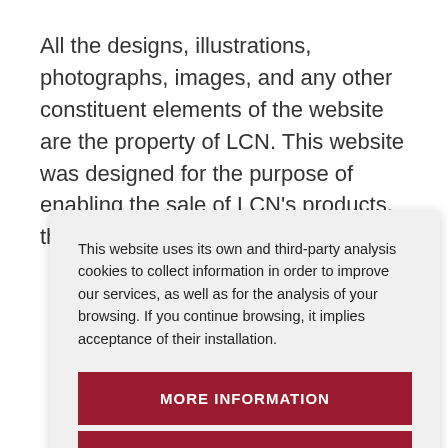All the designs, illustrations, photographs, images, and any other constituent elements of the website are the property of LCN. This website was designed for the purpose of enabling the sale of LCN's products, therefore
This website uses its own and third-party analysis cookies to collect information in order to improve our services, as well as for the analysis of your browsing. If you continue browsing, it implies acceptance of their installation.
MORE INFORMATION
ACCEPT